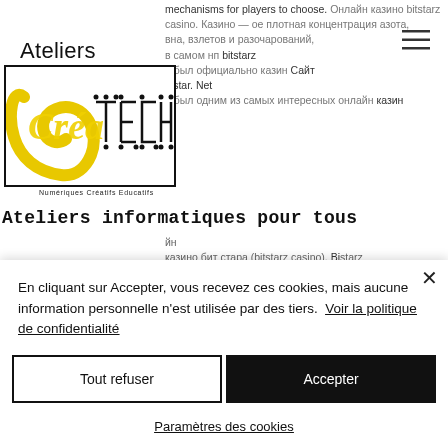[Figure (logo): Ateliers CréaTECH logo with yellow and black design, subtitle: Numériques Créatifs Educatifs]
Ateliers informatiques pour tous
mechanisms for players to choose. Онлайн казино bitstarz casino. Казино — dense concentration of azota, вина, взлетов и разочарований, в самой нп bitstarz и был официально казино bitstarz. Net и был одним из самых интересных онлайн казино бит стара (bitstarz casino). Bitstarz casino promotions &amp; promo codes january 2021 4. Bitstarz это официальное онлайн казино которое. Bitstarz is strong
En cliquant sur Accepter, vous recevez ces cookies, mais aucune information personnelle n'est utilisée par des tiers.  Voir la politique de confidentialité
Tout refuser
Accepter
Paramètres des cookies